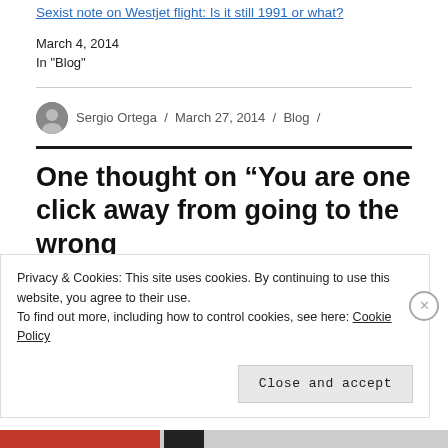Sexist note on Westjet flight: Is it still 1991 or what?
March 4, 2014
In "Blog"
Sergio Ortega / March 27, 2014 / Blog /
One thought on “You are one click away from going to the wrong
Privacy & Cookies: This site uses cookies. By continuing to use this website, you agree to their use.
To find out more, including how to control cookies, see here: Cookie Policy
Close and accept